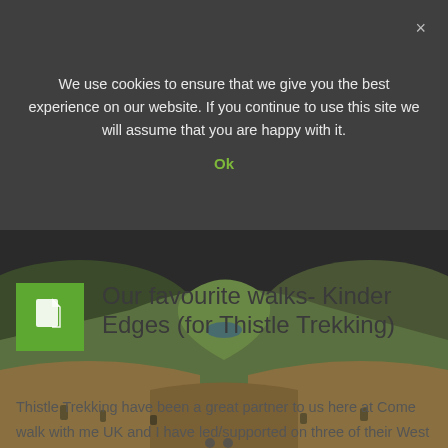We use cookies to ensure that we give you the best experience on our website. If you continue to use this site we will assume that you are happy with it.
Ok
[Figure (photo): Scenic landscape photograph of moorland hills and valley, taken from ground level showing grassland in foreground and green hills rolling into the distance under a dark sky.]
Our favourite walks- Kinder Edges (for Thistle Trekking)
Thistle Trekking have been a great partner to us here at Come walk with me UK and I have led/supported on three of their West Highland Ways. Covid 19 has put pay to any plans we had to work together in 2020...